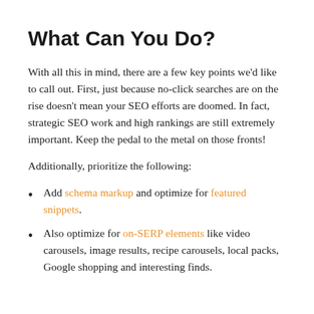What Can You Do?
With all this in mind, there are a few key points we’d like to call out. First, just because no-click searches are on the rise doesn’t mean your SEO efforts are doomed. In fact, strategic SEO work and high rankings are still extremely important. Keep the pedal to the metal on those fronts!
Additionally, prioritize the following:
Add schema markup and optimize for featured snippets.
Also optimize for on-SERP elements like video carousels, image results, recipe carousels, local packs, Google shopping and interesting finds.